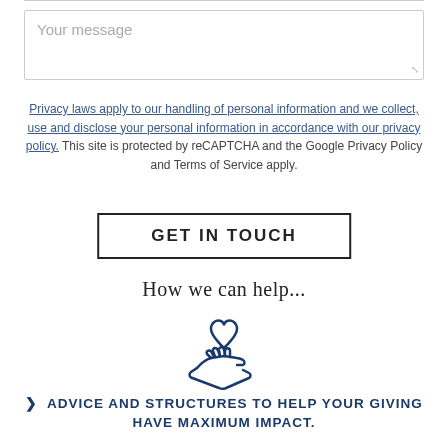Your message
Privacy laws apply to our handling of personal information and we collect, use and disclose your personal information in accordance with our privacy policy. This site is protected by reCAPTCHA and the Google Privacy Policy and Terms of Service apply.
GET IN TOUCH
How we can help...
[Figure (illustration): Hand holding a heart icon, outline style in dark navy blue]
ADVICE AND STRUCTURES TO HELP YOUR GIVING HAVE MAXIMUM IMPACT.